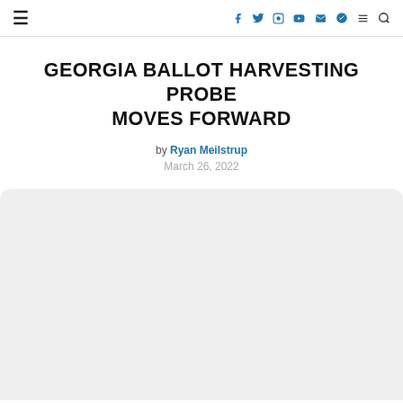≡  f  twitter  instagram  youtube  mail  telegram  ≡  search
GEORGIA BALLOT HARVESTING PROBE MOVES FORWARD
by Ryan Meilstrup
March 26, 2022
[Figure (photo): Light gray placeholder image area with rounded top corners, representing the article's featured image]